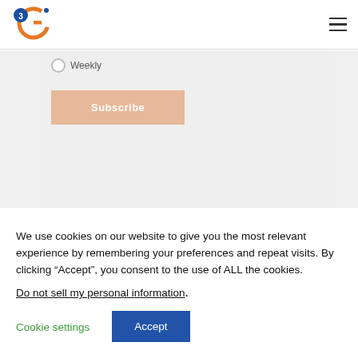[Figure (logo): 3GI logo with orange circular G shape and blue circle with number 3]
Weekly
Subscribe
We use cookies on our website to give you the most relevant experience by remembering your preferences and repeat visits. By clicking “Accept”, you consent to the use of ALL the cookies.
Do not sell my personal information.
Cookie settings
Accept